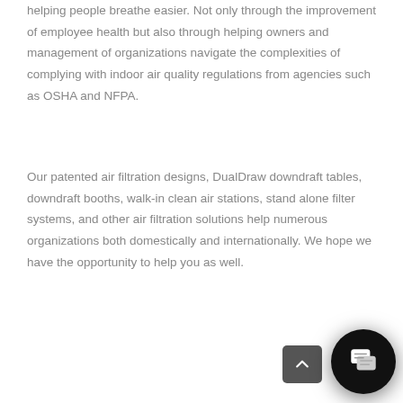helping people breathe easier. Not only through the improvement of employee health but also through helping owners and management of organizations navigate the complexities of complying with indoor air quality regulations from agencies such as OSHA and NFPA.
Our patented air filtration designs, DualDraw downdraft tables, downdraft booths, walk-in clean air stations, stand alone filter systems, and other air filtration solutions help numerous organizations both domestically and internationally. We hope we have the opportunity to help you as well.
[Figure (other): A dark circular chat/messaging button icon in the bottom-right corner, with a scroll-to-top button (dark rectangle with upward chevron) beside it.]